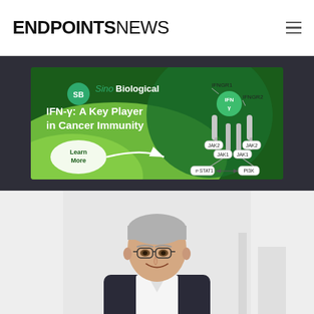ENDPOINTS NEWS
[Figure (illustration): Sino Biological advertisement: IFN-γ: A Key Player in Cancer Immunity. Shows IFN-γ receptor diagram with IFNGR1, IFNGR2, JAK2, JAK1, STAT1, PI3K pathway labels. Green background with Learn More button.]
[Figure (photo): Headshot of a middle-aged man with grey hair and glasses, wearing a dark suit jacket and white shirt, smiling, photographed in a bright office/corridor setting.]